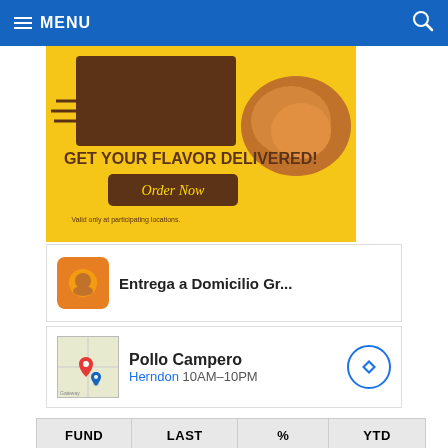MENU
[Figure (illustration): Food delivery advertisement with yellow background showing 'GET YOUR FLAVOR DELIVERED!' with a truck graphic and fried chicken, with 'Order Now' button]
[Figure (illustration): Entrega a Domicilio Gr... app icon ad row with orange icon]
[Figure (map): Pollo Campero location ad: Herndon 10AM-10PM with map thumbnail and navigation arrow]
| FUND | LAST | % | YTD |
| --- | --- | --- | --- |
| G Fund | $17.0052 | +0.01% | +1.61% |
| F Fund | $18.7754 | -0.28% | -10.11% |
| C Fund | $63.1409 | +0.29% | 12.24% |
[Figure (illustration): Leesburg OPEN 10AM-9PM, 241 Fort Evans Rd NE, Leesburg location ad with navigation arrow]